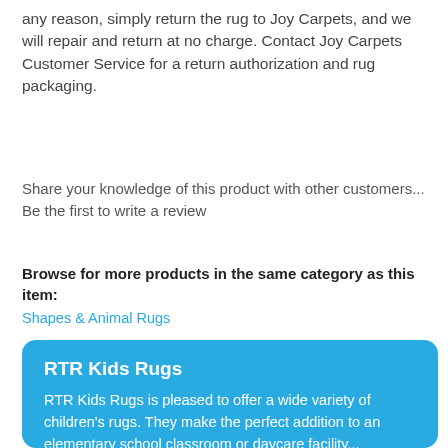any reason, simply return the rug to Joy Carpets, and we will repair and return at no charge. Contact Joy Carpets Customer Service for a return authorization and rug packaging.
Share your knowledge of this product with other customers... Be the first to write a review
Browse for more products in the same category as this item:
Shapes & Animal Rugs
RTR Kids Rugs
RTR Kids Rugs is pleased to offer a wide variety of children's rugs. They make the perfect addition to an elementary school classroom or daycare facility...